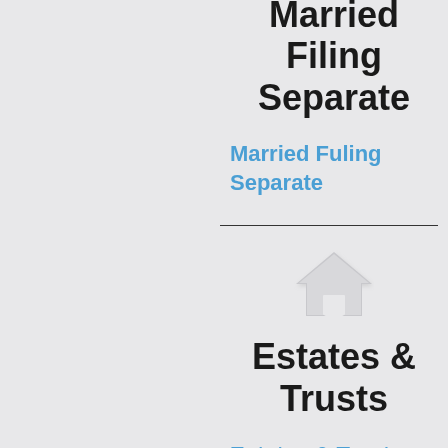Married Filing Separate
Married Fuling Separate
[Figure (illustration): White house/home icon on light gray background]
Estates & Trusts
Estates & Trusts